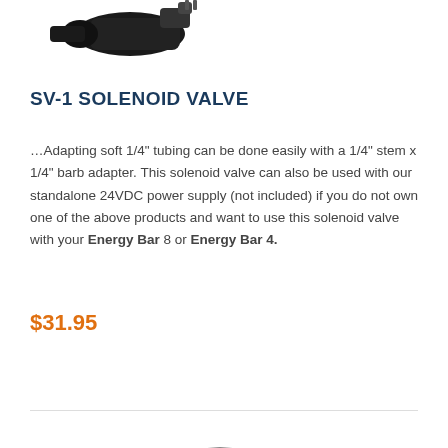[Figure (photo): Partial product photo of a solenoid valve or connector cable at the top of the page, cropped]
SV-1 SOLENOID VALVE
…Adapting soft 1/4" tubing can be done easily with a 1/4" stem x 1/4" barb adapter. This solenoid valve can also be used with our standalone 24VDC power supply (not included) if you do not own one of the above products and want to use this solenoid valve with your Energy Bar 8 or Energy Bar 4.
$31.95
ADD TO CART
[Figure (photo): Partial product photo of a coiled black cable/cord at the bottom of the page, cropped]